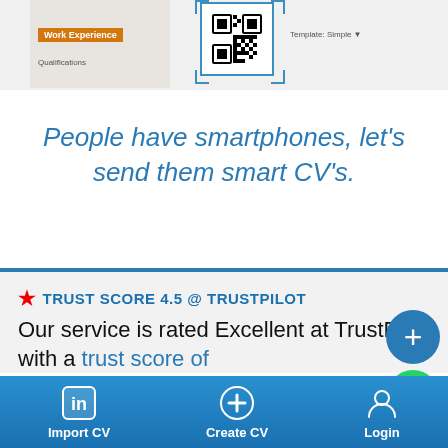[Figure (screenshot): Screenshot of a CV builder app showing a CV with Work Experience and Qualifications sections on the left side and a QR code on the right side]
People have smartphones, let's send them smart CV's.
★ TRUST SCORE 4.5 @ TRUSTPILOT
Our service is rated Excellent at TrustPilot with a trust score of
[Figure (screenshot): Dark graph/chart bar partially visible at the bottom of the trust section]
[Figure (infographic): Bottom navigation bar with Import CV (LinkedIn icon), Create CV (plus icon), and Login (person icon) buttons on a blue gradient background]